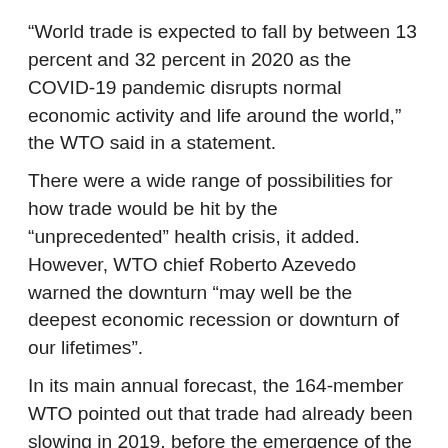“World trade is expected to fall by between 13 percent and 32 percent in 2020 as the COVID-19 pandemic disrupts normal economic activity and life around the world,” the WTO said in a statement.
There were a wide range of possibilities for how trade would be hit by the “unprecedented” health crisis, it added. However, WTO chief Roberto Azevedo warned the downturn “may well be the deepest economic recession or downturn of our lifetimes”.
In its main annual forecast, the 164-member WTO pointed out that trade had already been slowing in 2019, before the emergence of the novel coronavirus.
But the virus has now infected some 1.4 million people since late last year, killing more than 80,000 and forcing governments across the world to take radical measures. More than half of humanity has been asked to stay at home and economic activity has ground to a virtual standstill in many places.